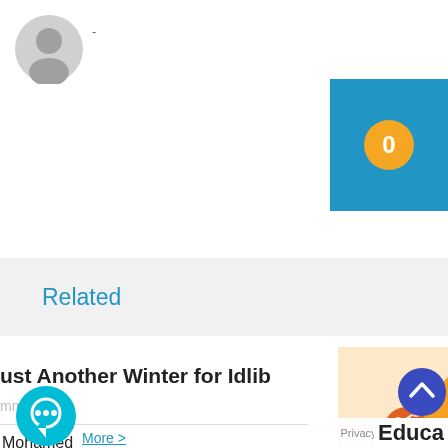[Figure (illustration): Gray circular avatar/profile icon in top-left corner]
-
[Figure (infographic): Blue rectangle box in top-right with yellow circle containing '0']
Related
ust Another Winter for Idlib
mments
Mohamed
[Figure (illustration): Partial article thumbnail with orange/yellow gradient and share button overlay]
[Figure (illustration): Teal chat/comment bubble icon button at bottom left]
More >